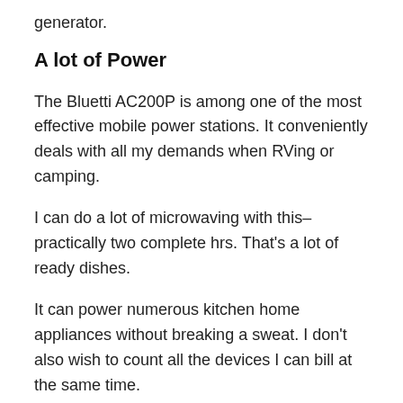generator.
A lot of Power
The Bluetti AC200P is among one of the most effective mobile power stations. It conveniently deals with all my demands when RVing or camping.
I can do a lot of microwaving with this–practically two complete hrs. That's a lot of ready dishes.
It can power numerous kitchen home appliances without breaking a sweat. I don't also wish to count all the devices I can bill at the same time.
The 500W s/a unit in my RV gets about 4 hours